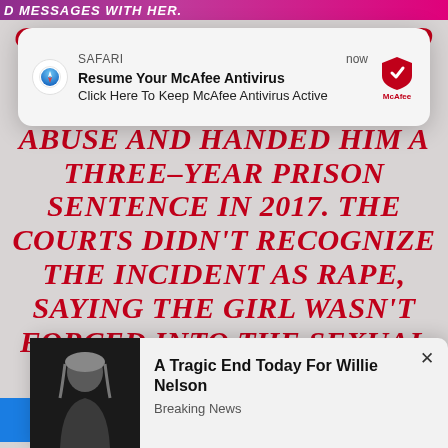[Figure (screenshot): Screenshot of a webpage with red italic headline text reading partial content about City of Turku convicting an asylum seeker, overlaid with a Safari browser notification popup for McAfee Antivirus and a lower popup about Willie Nelson breaking news.]
SAFARI   now
Resume Your McAfee Antivirus
Click Here To Keep McAfee Antivirus Active
CITY OF TURKU CONVICTED THE ASYLUM SEEKER OF AGGRAVATED SEXUAL ABUSE AND HANDED HIM A THREE–YEAR PRISON SENTENCE IN 2017. THE COURTS DIDN'T RECOGNIZE THE INCIDENT AS RAPE, SAYING THE GIRL WASN'T FORCED INTO THE SEXUAL ACT OR
A Tragic End Today For Willie Nelson
Breaking News